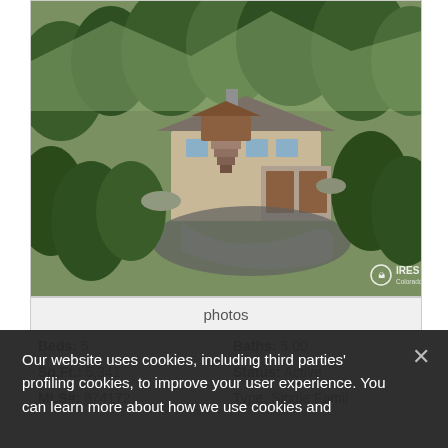[Figure (photo): Aerial view of a large mountain home surrounded by pine trees, with a stone staircase, wooden garage doors, and circular driveway. IRES watermark in bottom right.]
photos
Beds: 5
Sq.Ft.: 5,341
MLS#: 874172
Baths: 5.00
Status: Active
Type: Single Family
Our website uses cookies, including third parties' profiling cookies, to improve your user experience. You can learn more about how we use cookies and